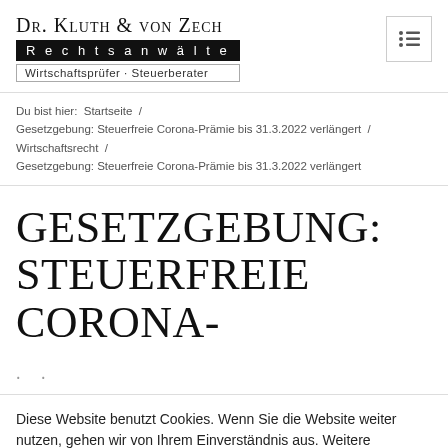Dr. Kluth & von Zech Rechtsanwälte Wirtschaftsprüfer · Steuerberater
Du bist hier: Startseite / Gesetzgebung: Steuerfreie Corona-Prämie bis 31.3.2022 verlängert / Wirtschaftsrecht / Gesetzgebung: Steuerfreie Corona-Prämie bis 31.3.2022 verlängert
GESETZGEBUNG: STEUERFREIE CORONA-…
Diese Website benutzt Cookies. Wenn Sie die Website weiter nutzen, gehen wir von Ihrem Einverständnis aus. Weitere Informationen finden Sie in unserer Datenschutzerklärung
Ok